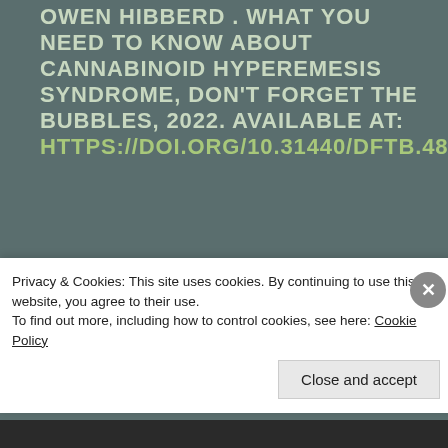OWEN HIBBERD . WHAT YOU NEED TO KNOW ABOUT CANNABINOID HYPEREMESIS SYNDROME, DON'T FORGET THE BUBBLES, 2022. AVAILABLE AT: HTTPS://DOI.ORG/10.31440/DFTB.48627
Privacy & Cookies: This site uses cookies. By continuing to use this website, you agree to their use. To find out more, including how to control cookies, see here: Cookie Policy
Close and accept